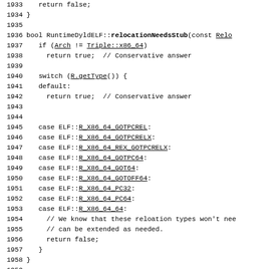Source code listing lines 1933-1960 of RuntimeDyldELF showing relocationNeedsStub function implementation in C++ with ELF relocation type cases.